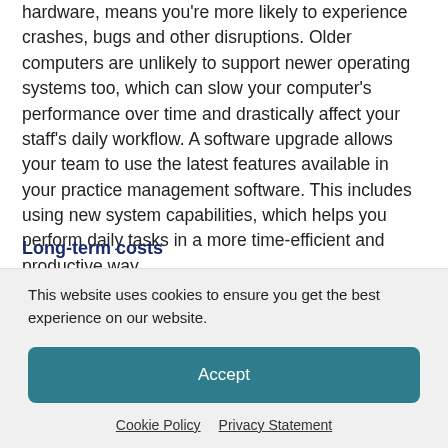hardware, means you're more likely to experience crashes, bugs and other disruptions. Older computers are unlikely to support newer operating systems too, which can slow your computer's performance over time and drastically affect your staff's daily workflow. A software upgrade allows your team to use the latest features available in your practice management software. This includes using new system capabilities, which helps you perform daily tasks in a more time-efficient and productive way.
Long-term costs
This website uses cookies to ensure you get the best experience on our website.
Accept
Cookie Policy  Privacy Statement